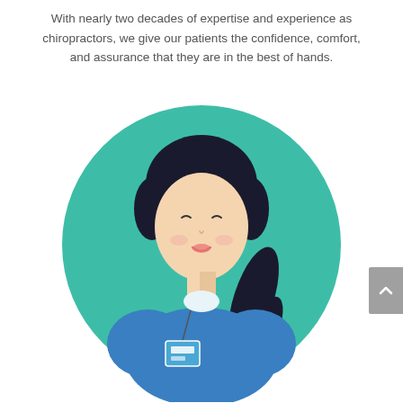With nearly two decades of expertise and experience as chiropractors, we give our patients the confidence, comfort, and assurance that they are in the best of hands.
[Figure (illustration): Flat style illustration of a female chiropractor/doctor with dark hair in a ponytail, wearing blue scrubs with an ID badge, shown from shoulders up inside a teal/green circle.]